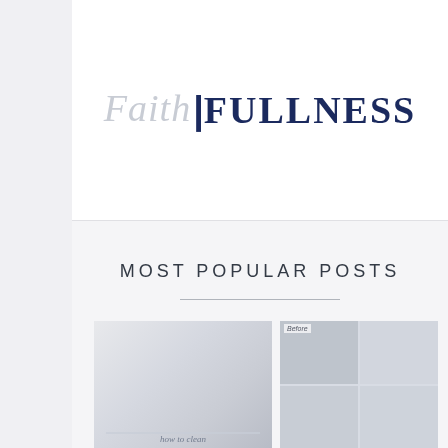Faith FULLNESS
MOST POPULAR POSTS
[Figure (photo): Collage of two photos side by side: left shows a washing machine close-up in white tones with script text 'how to clean'; right shows a 2x2 grid of before/after cleaning images of windows or blinds, labeled 'Before']